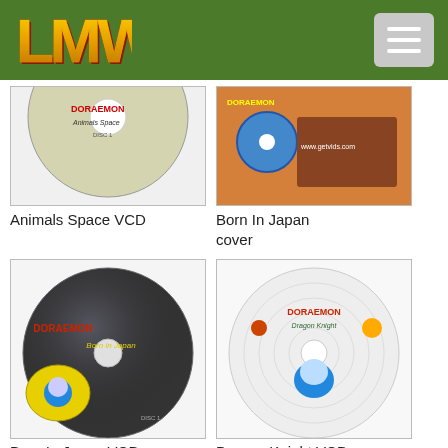LMW logo and navigation menu
[Figure (photo): Doraemon Animals Space VCD disc image (partially visible at top)]
Animals Space VCD
[Figure (photo): Born In Japan VCD cover image showing cartoon characters]
Born In Japan cover
[Figure (photo): Doraemon Born In Japan VCD disc image]
Born In Japan VCD
[Figure (photo): Doraemon Dragon Knight VCD disc image]
Dragon Knight VCD
[Figure (photo): Doraemon VCD disc/cover partially visible at bottom left]
[Figure (photo): Doraemon VCD disc partially visible at bottom right]